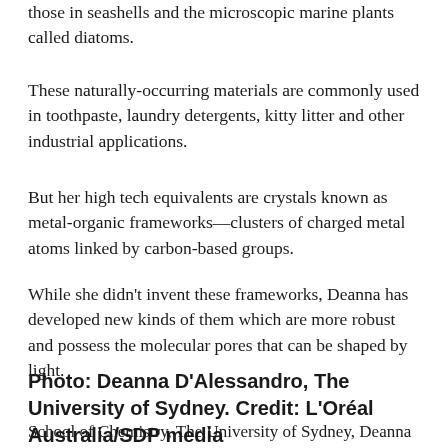those in seashells and the microscopic marine plants called diatoms.
These naturally-occurring materials are commonly used in toothpaste, laundry detergents, kitty litter and other industrial applications.
But her high tech equivalents are crystals known as metal-organic frameworks—clusters of charged metal atoms linked by carbon-based groups.
While she didn't invent these frameworks, Deanna has developed new kinds of them which are more robust and possess the molecular pores that can be shaped by light.
Photo: Deanna D'Alessandro, The University of Sydney. Credit: L'Oréal Australia/SDP media
School of Chemistry, The University of Sydney, Deanna